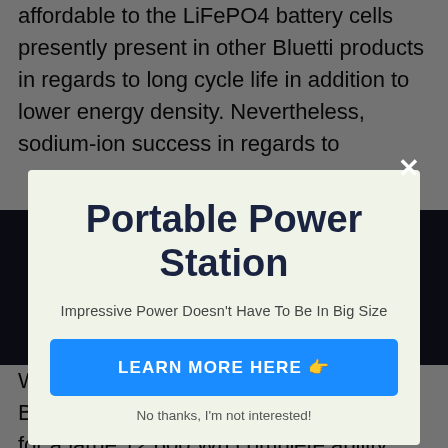affordable to the LiFePO4 battery cells presently present in other Bluetti products in regards to long cycle life in addition to lower energy density. Nevertheless, sodium-ion success in regards to
Wh in the EP300, it does support up to 2 B480 battery modules (4,600 Wh each) for a large 12,600 Wh complete ability. This enables the NA300 sustain a constant supply of electrical
[Figure (screenshot): Modal popup overlay on a webpage. Contains title 'Portable Power Station', subtitle 'Impressive Power Doesn't Have To Be In Big Size', a blue button 'LEARN MORE HERE 👉', and a dismiss link 'No thanks, I'm not interested!']
Portable Power Station
Impressive Power Doesn't Have To Be In Big Size
LEARN MORE HERE 👉
No thanks, I'm not interested!